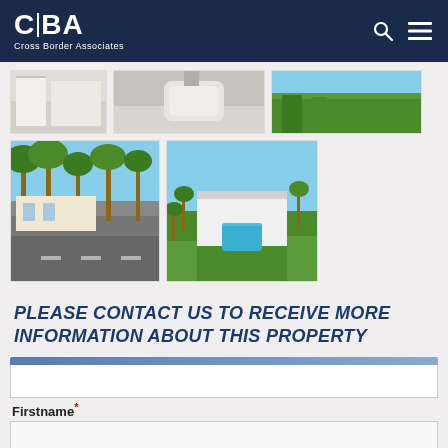CBA Cross Border Associates
[Figure (photo): Three thumbnail property photos in top row: white interior, bathroom close-up, green grass/garden]
[Figure (photo): Two larger property photos: street view with palm trees and villa, aerial view of property with pool and gardens]
PLEASE CONTACT US TO RECEIVE MORE INFORMATION ABOUT THIS PROPERTY
Firstname*